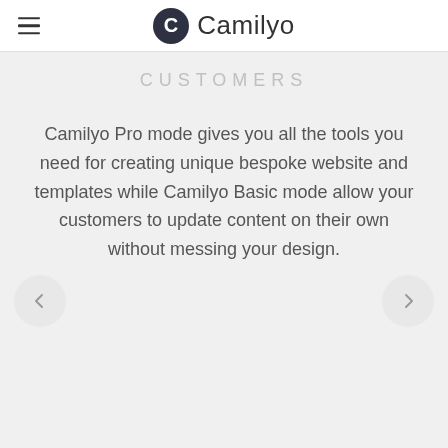Camilyo
CUSTOMERS
Camilyo Pro mode gives you all the tools you need for creating unique bespoke website and templates while Camilyo Basic mode allow your customers to update content on their own without messing your design.